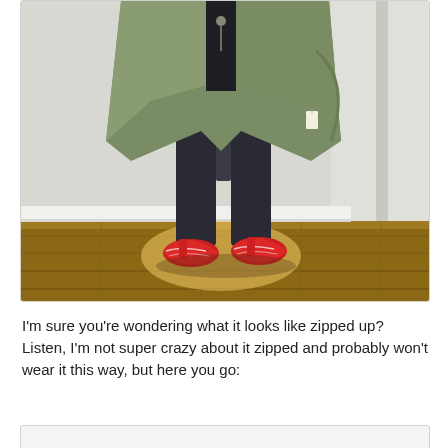[Figure (photo): A person wearing a green/olive open jacket over a black top, dark skinny jeans, and red patterned wedge shoes, standing on a wood floor against a white wall. The head is cropped out of frame.]
I'm sure you're wondering what it looks like zipped up? Listen, I'm not super crazy about it zipped and probably won't wear it this way, but here you go: